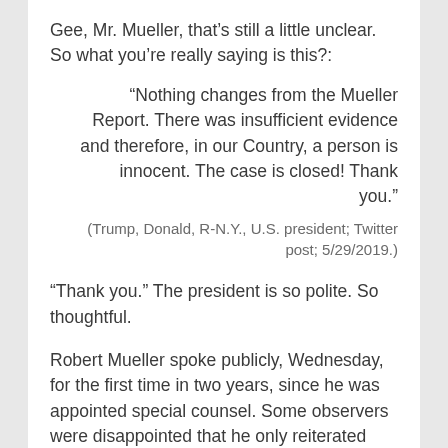Gee, Mr. Mueller, that's still a little unclear. So what you're really saying is this?:
“Nothing changes from the Mueller Report. There was insufficient evidence and therefore, in our Country, a person is innocent. The case is closed! Thank you.”
(Trump, Donald, R-N.Y., U.S. president; Twitter post; 5/29/2019.)
“Thank you.” The president is so polite. So thoughtful.
Robert Mueller spoke publicly, Wednesday, for the first time in two years, since he was appointed special counsel. Some observers were disappointed that he only reiterated certain points and in his written report. Some observers